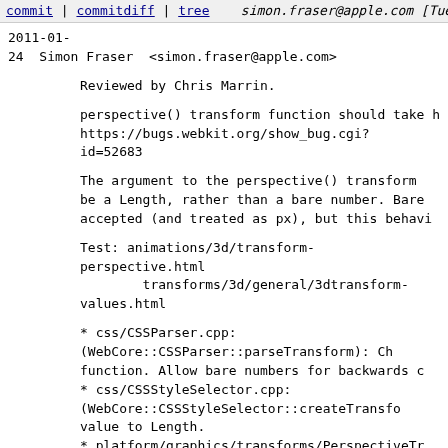commit | commitdiff | tree    simon.fraser@apple.com [Tue, 25 Jan 2011 05:15:56 +0000 (05:15 +0000)]
2011-01-24  Simon Fraser  <simon.fraser@apple.com>

        Reviewed by Chris Marrin.

        perspective() transform function should take https://bugs.webkit.org/show_bug.cgi?id=52683

        The argument to the perspective() transform be a Length, rather than a bare number. Bare accepted (and treated as px), but this behavi

        Test: animations/3d/transform-perspective.html
                transforms/3d/general/3dtransform-values.html

        * css/CSSParser.cpp: (WebCore::CSSParser::parseTransform): Ch function. Allow bare numbers for backwards c
        * css/CSSStyleSelector.cpp: (WebCore::CSSStyleSelector::createTransfo value to Length.
        * platform/graphics/transforms/PerspectiveTr (WebCore::clampToPostiveInteger): Helper. (WebCore::PerspectiveTransformOperation:: * platform/graphics/transforms/PerspectiveTr